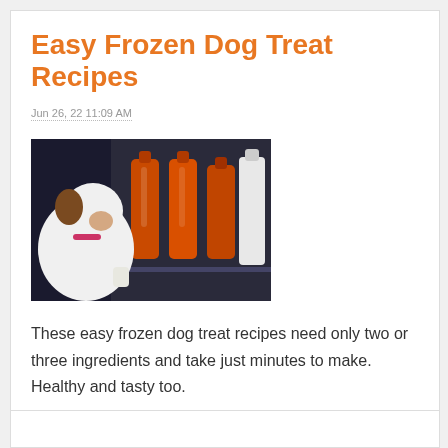Easy Frozen Dog Treat Recipes
Jun 26, 22 11:09 AM
[Figure (photo): A dog looking into a refrigerator stocked with orange bottles and a milk bottle]
These easy frozen dog treat recipes need only two or three ingredients and take just minutes to make. Healthy and tasty too.
Read Mo
WHAT'S NEXT → Which Flour For Dog Tre...